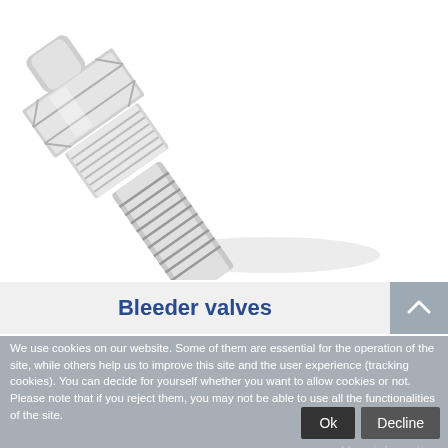[Figure (photo): Close-up photograph of a chrome/stainless steel bleeder valve with threaded body and knurled hex nut section, shown against a white background.]
Bleeder valves
We use cookies on our website. Some of them are essential for the operation of the site, while others help us to improve this site and the user experience (tracking cookies). You can decide for yourself whether you want to allow cookies or not. Please note that if you reject them, you may not be able to use all the functionalities of the site.